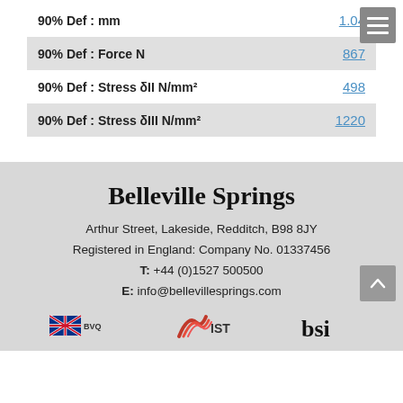| Parameter | Value |
| --- | --- |
| 90% Def : mm | 1.04 |
| 90% Def : Force N | 867 |
| 90% Def : Stress δII N/mm² | 498 |
| 90% Def : Stress δIII N/mm² | 1220 |
Belleville Springs
Arthur Street, Lakeside, Redditch, B98 8JY
Registered in England: Company No. 01337456
T: +44 (0)1527 500500
E: info@bellevillesprings.com